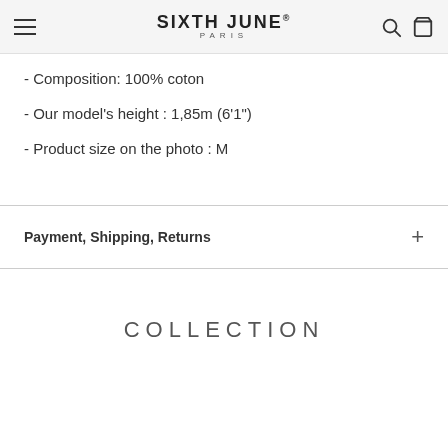SIXTH JUNE® PARIS
- Composition: 100% coton
- Our model's height : 1,85m (6'1")
- Product size on the photo : M
Payment, Shipping, Returns
COLLECTION